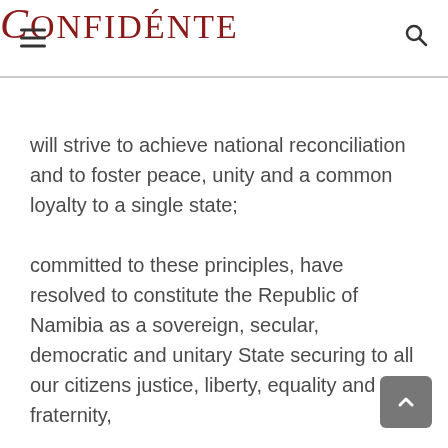Confidénte
will strive to achieve national reconciliation and to foster peace, unity and a common loyalty to a single state;
committed to these principles, have resolved to constitute the Republic of Namibia as a sovereign, secular, democratic and unitary State securing to all our citizens justice, liberty, equality and fraternity,